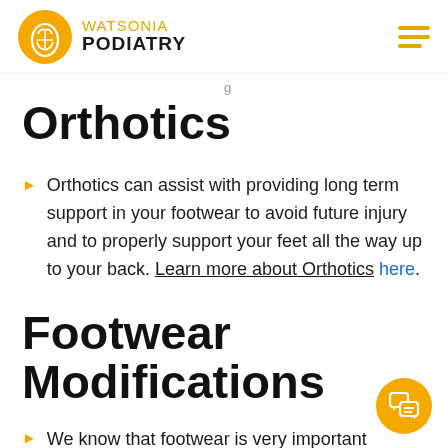WATSONIA PODIATRY
Orthotics
Orthotics can assist with providing long term support in your footwear to avoid future injury and to properly support your feet all the way up to your back. Learn more about Orthotics here.
Footwear Modifications
We know that footwear is very important